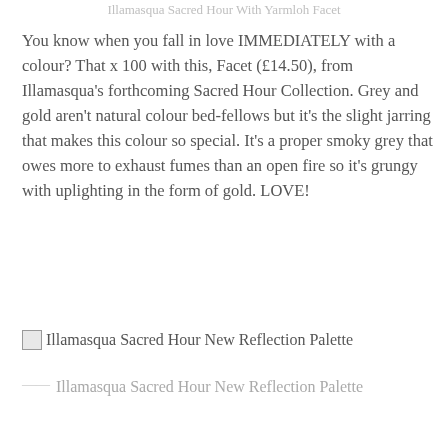Illamasqua Sacred Hour With Yarmloh Facet
You know when you fall in love IMMEDIATELY with a colour? That x 100 with this, Facet (£14.50), from Illamasqua's forthcoming Sacred Hour Collection. Grey and gold aren't natural colour bed-fellows but it's the slight jarring that makes this colour so special. It's a proper smoky grey that owes more to exhaust fumes than an open fire so it's grungy with uplighting in the form of gold. LOVE!
[Figure (photo): Illamasqua Sacred Hour New Reflection Palette - broken image placeholder]
Illamasqua Sacred Hour New Reflection Palette